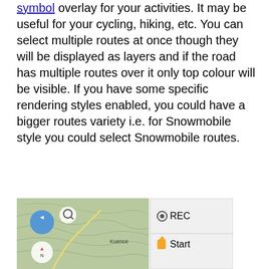symbol overlay for your activities. It may be useful for your cycling, hiking, etc. You can select multiple routes at once though they will be displayed as layers and if the road has multiple routes over it only top colour will be visible. If you have some specific rendering styles enabled, you could have a bigger routes variety i.e. for Snowmobile style you could select Snowmobile routes.
[Figure (screenshot): A screenshot of a map application showing a topographic map with terrain contour lines and a UI overlay panel on the right with REC and Start buttons.]